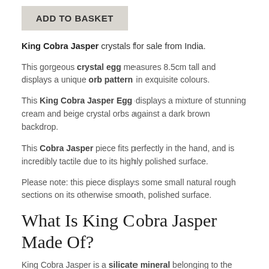[Figure (other): ADD TO BASKET button — a grey rectangular button with bold uppercase text]
King Cobra Jasper crystals for sale from India.
This gorgeous crystal egg measures 8.5cm tall and displays a unique orb pattern in exquisite colours.
This King Cobra Jasper Egg displays a mixture of stunning cream and beige crystal orbs against a dark brown backdrop.
This Cobra Jasper piece fits perfectly in the hand, and is incredibly tactile due to its highly polished surface.
Please note: this piece displays some small natural rough sections on its otherwise smooth, polished surface.
What Is King Cobra Jasper Made Of?
King Cobra Jasper is a silicate mineral belonging to the